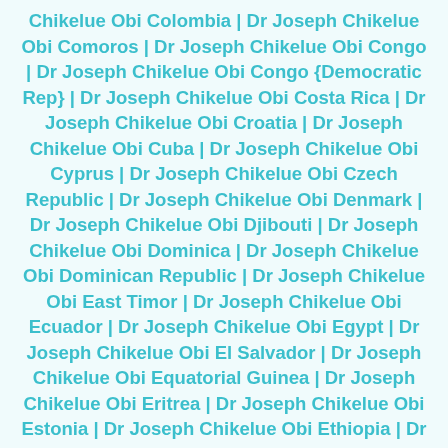Chikelue Obi Colombia | Dr Joseph Chikelue Obi Comoros | Dr Joseph Chikelue Obi Congo | Dr Joseph Chikelue Obi Congo {Democratic Rep} | Dr Joseph Chikelue Obi Costa Rica | Dr Joseph Chikelue Obi Croatia | Dr Joseph Chikelue Obi Cuba | Dr Joseph Chikelue Obi Cyprus | Dr Joseph Chikelue Obi Czech Republic | Dr Joseph Chikelue Obi Denmark | Dr Joseph Chikelue Obi Djibouti | Dr Joseph Chikelue Obi Dominica | Dr Joseph Chikelue Obi Dominican Republic | Dr Joseph Chikelue Obi East Timor | Dr Joseph Chikelue Obi Ecuador | Dr Joseph Chikelue Obi Egypt | Dr Joseph Chikelue Obi El Salvador | Dr Joseph Chikelue Obi Equatorial Guinea | Dr Joseph Chikelue Obi Eritrea | Dr Joseph Chikelue Obi Estonia | Dr Joseph Chikelue Obi Ethiopia | Dr Joseph Chikelue Obi Fiji | Dr Joseph Chikelue Obi Finland | Dr Joseph Chikelue Obi France | Dr Joseph Chikelue Obi Gabon | Dr Joseph Chikelue Obi Gambia | Dr Joseph Chikelue Obi Georgia | Dr Joseph Chikelue Obi Germany | Dr Joseph Chikelue Obi Ghana | Dr Joseph Chikelue Obi Greece | Dr Joseph Chikelue Obi Grenada | Dr Joseph Chikelue Obi Guatemala | Dr Joseph Chikelue Obi Guinea | Dr